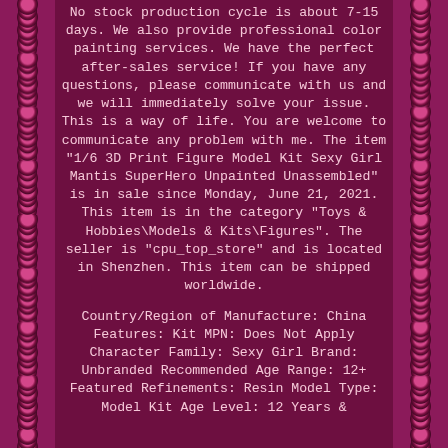No stock production cycle is about 7-15 days. We also provide professional color painting services. We have the perfect after-sales service! If you have any questions, please communicate with us and we will immediately solve your issue. This is a way of life. You are welcome to communicate any problem with me. The item "1/6 3D Print Figure Model Kit Sexy Girl Mantis SuperHero Unpainted Unassembled" is in sale since Monday, June 21, 2021. This item is in the category "Toys & Hobbies\Models & Kits\Figures". The seller is "cpu_top_store" and is located in Shenzhen. This item can be shipped worldwide.
Country/Region of Manufacture: China Features: Kit MPN: Does Not Apply Character Family: Sexy Girl Brand: Unbranded Recommended Age Range: 12+ Featured Refinements: Resin Model Type: Model Kit Age Level: 12 Years &